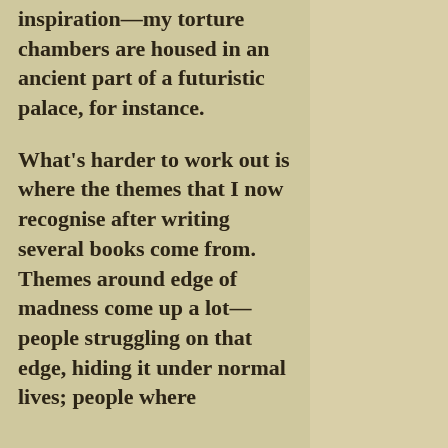inspiration—my torture chambers are housed in an ancient part of a futuristic palace, for instance.

What's harder to work out is where the themes that I now recognise after writing several books come from. Themes around edge of madness come up a lot—people struggling on that edge, hiding it under normal lives; people where